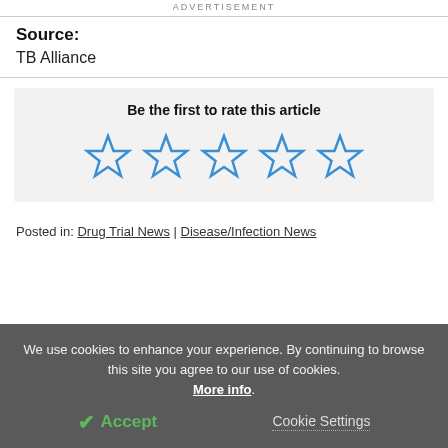ADVERTISEMENT
Source:
TB Alliance
[Figure (other): Five empty blue star icons for rating an article, with text 'Be the first to rate this article']
Posted in: Drug Trial News | Disease/Infection News
We use cookies to enhance your experience. By continuing to browse this site you agree to our use of cookies. More info.
✔ Accept   Cookie Settings